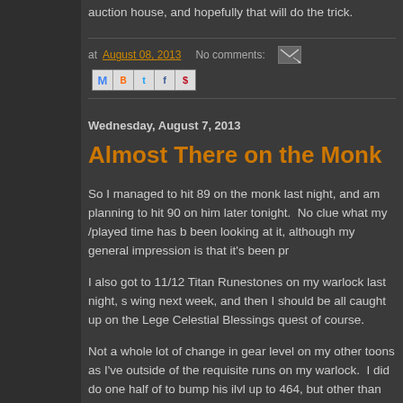auction house, and hopefully that will do the trick.
at August 08, 2013   No comments:
Wednesday, August 7, 2013
Almost There on the Monk
So I managed to hit 89 on the monk last night, and am planning to hit 90 on him later tonight.  No clue what my /played time has been looking at it, although my general impression is that it's been pr...
I also got to 11/12 Titan Runestones on my warlock last night, s... wing next week, and then I should be all caught up on the Lege... Celestial Blessings quest of course.
Not a whole lot of change in gear level on my other toons as I've... outside of the requisite runs on my warlock.  I did do one half of... to bump his ilvl up to 464, but other than that, not a whole lot of...